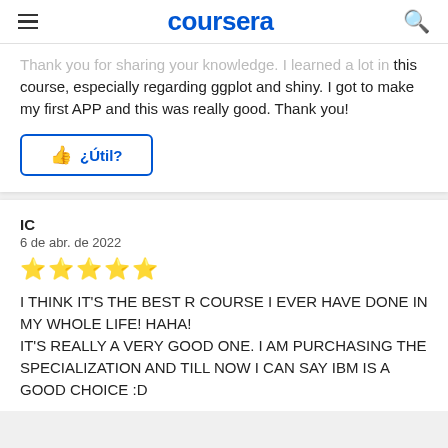coursera
Thank you for sharing your knowledge. I learned a lot in this course, especially regarding ggplot and shiny. I got to make my first APP and this was really good. Thank you!
¿Útil?
IC
6 de abr. de 2022
★★★★★
I THINK IT'S THE BEST R COURSE I EVER HAVE DONE IN MY WHOLE LIFE! HAHA!
IT'S REALLY A VERY GOOD ONE. I AM PURCHASING THE SPECIALIZATION AND TILL NOW I CAN SAY IBM IS A GOOD CHOICE :D